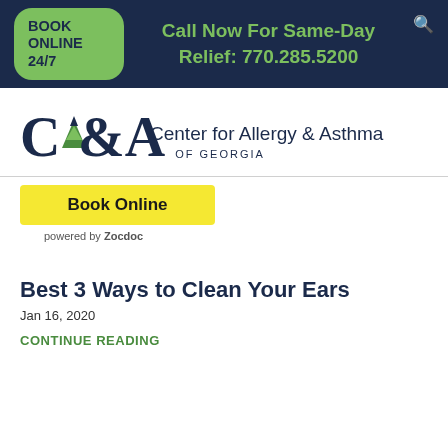BOOK ONLINE 24/7 | Call Now For Same-Day Relief: 770.285.5200
[Figure (logo): CA&A Center for Allergy & Asthma of Georgia logo]
[Figure (other): Book Online button powered by Zocdoc]
Best 3 Ways to Clean Your Ears
Jan 16, 2020
CONTINUE READING